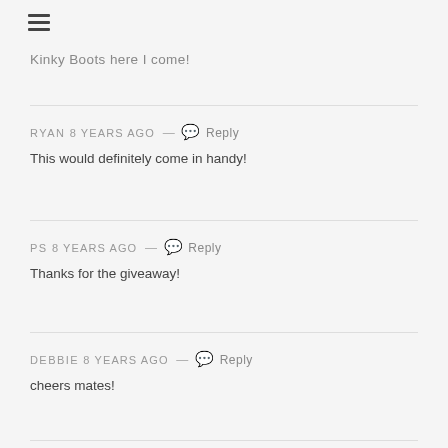≡
Kinky Boots here I come!
RYAN 8 years ago — 💬 Reply
This would definitely come in handy!
PS 8 years ago — 💬 Reply
Thanks for the giveaway!
DEBBIE 8 years ago — 💬 Reply
cheers mates!